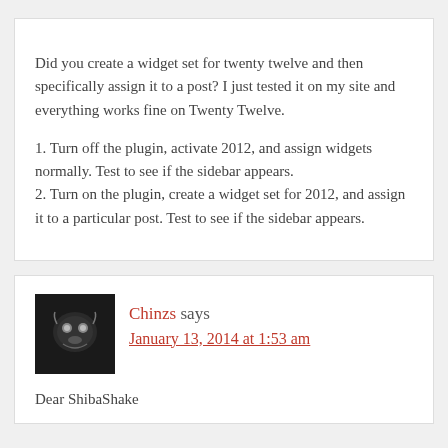Did you create a widget set for twenty twelve and then specifically assign it to a post? I just tested it on my site and everything works fine on Twenty Twelve.
1. Turn off the plugin, activate 2012, and assign widgets normally. Test to see if the sidebar appears.
2. Turn on the plugin, create a widget set for 2012, and assign it to a particular post. Test to see if the sidebar appears.
Chinzs says
January 13, 2014 at 1:53 am
Dear ShibaShake